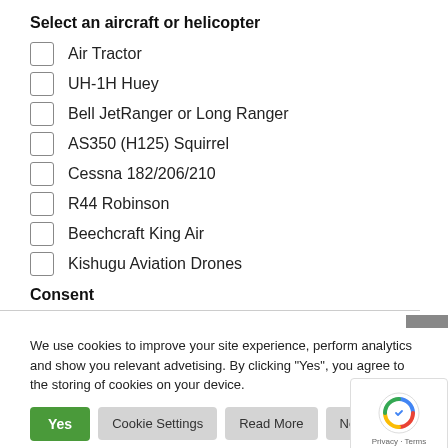Select an aircraft or helicopter
Air Tractor
UH-1H Huey
Bell JetRanger or Long Ranger
AS350 (H125) Squirrel
Cessna 182/206/210
R44 Robinson
Beechcraft King Air
Kishugu Aviation Drones
Consent
We use cookies to improve your site experience, perform analytics and show you relevant advetising. By clicking "Yes", you agree to the storing of cookies on your device.